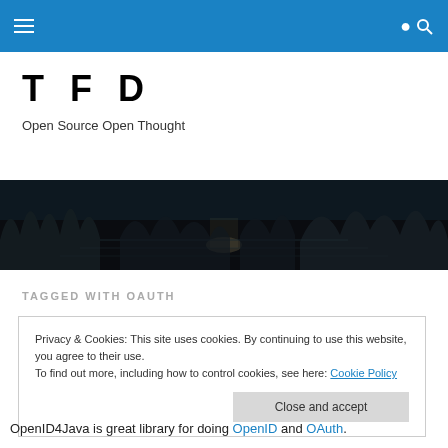TFD navigation bar with hamburger menu and search icon
T F D
Open Source Open Thought
[Figure (photo): Dark atmospheric landscape photo showing trees reflected in water at night]
TAGGED WITH OAUTH
Privacy & Cookies: This site uses cookies. By continuing to use this website, you agree to their use.
To find out more, including how to control cookies, see here: Cookie Policy
[Close and accept]
OpenID4Java is great library for doing OpenID and OAuth.